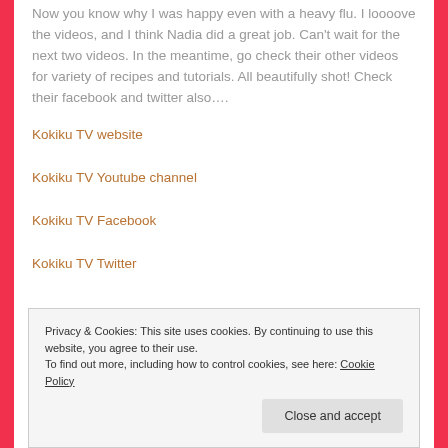Now you know why I was happy even with a heavy flu. I loooove the videos, and I think Nadia did a great job. Can't wait for the next two videos. In the meantime, go check their other videos for variety of recipes and tutorials. All beautifully shot! Check their facebook and twitter also….
Kokiku TV website
Kokiku TV Youtube channel
Kokiku TV Facebook
Kokiku TV Twitter
Privacy & Cookies: This site uses cookies. By continuing to use this website, you agree to their use. To find out more, including how to control cookies, see here: Cookie Policy